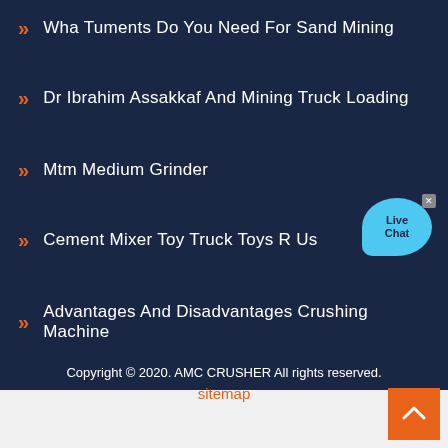Wha Tuments Do You Need For Sand Mining
Dr Ibrahim Assakkaf And Mining Truck Loading
Mtm Medium Grinder
Cement Mixer Toy Truck Toys R Us
Advantages And Disadvantages Crushing Machine
[Figure (illustration): Live Chat button bubble in blue with 'Live Chat' text and a close X button]
Copyright © 2020. AMC CRUSHER All rights reserved.
sitemap